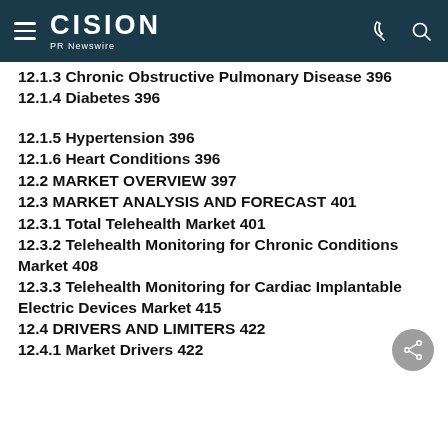CISION PR Newswire
12.1.3 Chronic Obstructive Pulmonary Disease 396
12.1.4 Diabetes 396
12.1.5 Hypertension 396
12.1.6 Heart Conditions 396
12.2 MARKET OVERVIEW 397
12.3 MARKET ANALYSIS AND FORECAST 401
12.3.1 Total Telehealth Market 401
12.3.2 Telehealth Monitoring for Chronic Conditions Market 408
12.3.3 Telehealth Monitoring for Cardiac Implantable Electric Devices Market 415
12.4 DRIVERS AND LIMITERS 422
12.4.1 Market Drivers 422